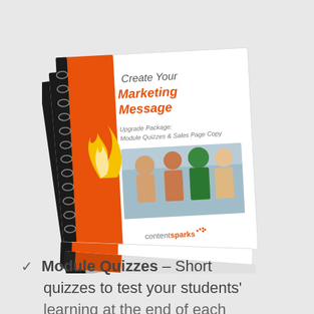[Figure (illustration): Stack of spiral-bound workbooks/notebooks featuring 'Create Your Marketing Message' cover with orange and white design, flame logo, group of students photo, and contentsparks branding. Multiple books stacked at a slight angle.]
Module Quizzes – Short quizzes to test your students' learning at the end of each